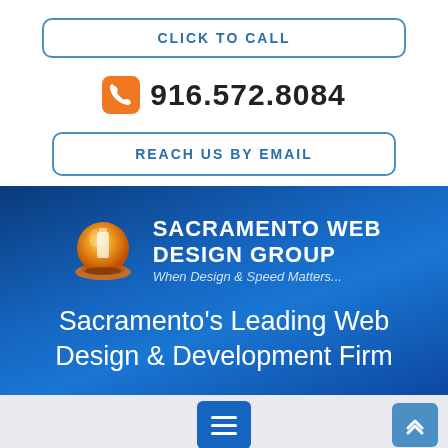CLICK TO CALL
916.572.8084
REACH US BY EMAIL
[Figure (logo): Sacramento Web Design Group logo with orange and gold globe icon, white text on blue background reading SACRAMENTO WEB DESIGN GROUP, tagline: When Design & Speed Matters...]
Sacramento's Leading Web Design & Development Firm